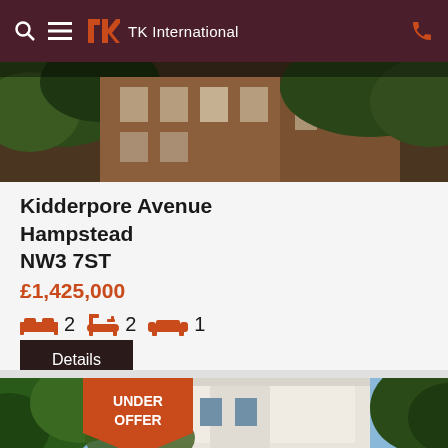TK International
[Figure (photo): Exterior photo of a brick building with trees and windows, partially visible]
Kidderpore Avenue
Hampstead
NW3 7ST
£1,425,000
2 bedrooms, 2 bathrooms, 1 reception room
Details
[Figure (photo): Exterior photo of a white Victorian building with arched windows and surrounding trees, with UNDER OFFER badge]